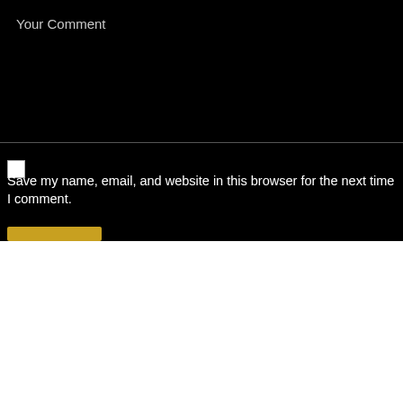Your Comment
Save my name, email, and website in this browser for the next time I comment.
We use cookies on our website to give you the most relevant experience by remembering your preferences and repeat visits. By clicking “Accept All”, you consent to the use of ALL the cookies. However, you may visit "Cookie Settings" to provide a controlled consent.
Cookie Settings
Accept All